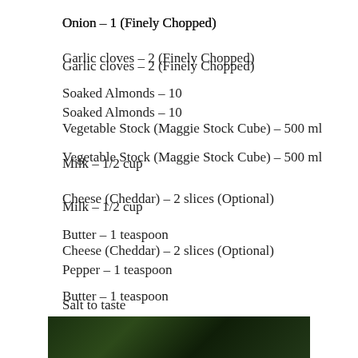Onion – 1 (Finely Chopped)
Garlic cloves – 2 (Finely Chopped)
Soaked Almonds – 10
Vegetable Stock (Maggie Stock Cube) – 500 ml
Milk – 1/2 cup
Cheese (Cheddar) – 2 slices (Optional)
Butter – 1 teaspoon
Pepper – 1 teaspoon
Salt to taste
[Figure (photo): Dark green food/herb photo strip at the bottom of the page]